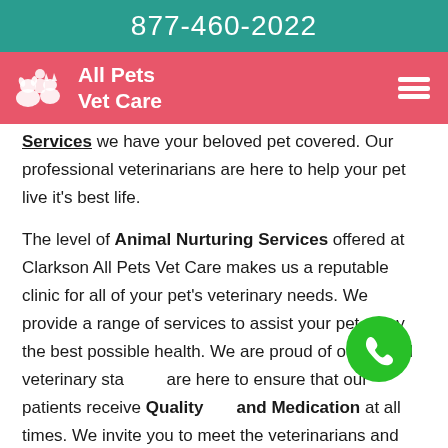877-460-2022
[Figure (logo): All Pets Vet Care logo with pet silhouettes on pink/salmon navigation bar with hamburger menu icon]
Services we have your beloved pet covered. Our professional veterinarians are here to help your pet live it's best life.
The level of Animal Nurturing Services offered at Clarkson All Pets Vet Care makes us a reputable clinic for all of your pet's veterinary needs. We provide a range of services to assist your pet enjoy the best possible health. We are proud of our skilled veterinary staff and are here to ensure that our patients receive Quality Care and Medication at all times. We invite you to meet the veterinarians and our employees by contacting Clarkson All Pets Vet Care and scheduling a time to come visit. We